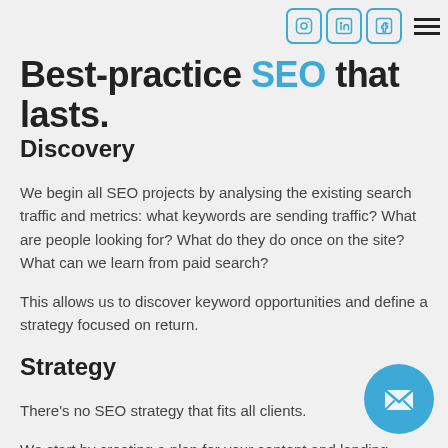Social icons: Instagram, LinkedIn, Facebook; hamburger menu
Best-practice SEO that lasts.
Discovery
We begin all SEO projects by analysing the existing search traffic and metrics: what keywords are sending traffic? What are people looking for? What do they do once on the site? What can we learn from paid search?
This allows us to discover keyword opportunities and define a strategy focused on return.
Strategy
There's no SEO strategy that fits all clients.
We start by creating a plan for your content and landing pages